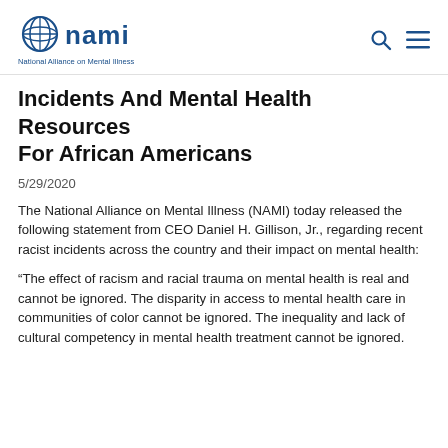NAMI – National Alliance on Mental Illness
Incidents And Mental Health Resources For African Americans
5/29/2020
The National Alliance on Mental Illness (NAMI) today released the following statement from CEO Daniel H. Gillison, Jr., regarding recent racist incidents across the country and their impact on mental health:
“The effect of racism and racial trauma on mental health is real and cannot be ignored. The disparity in access to mental health care in communities of color cannot be ignored. The inequality and lack of cultural competency in mental health treatment cannot be ignored.